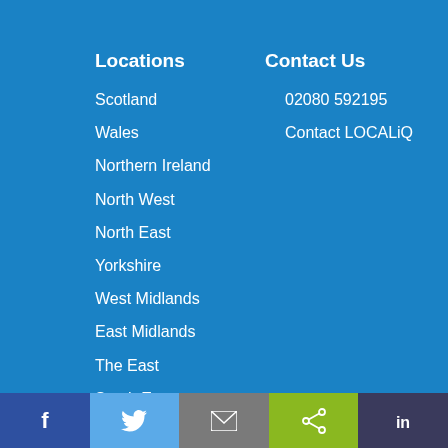Locations
Contact Us
Scotland
02080 592195
Wales
Contact LOCALiQ
Northern Ireland
North West
North East
Yorkshire
West Midlands
East Midlands
The East
South East
South West
London